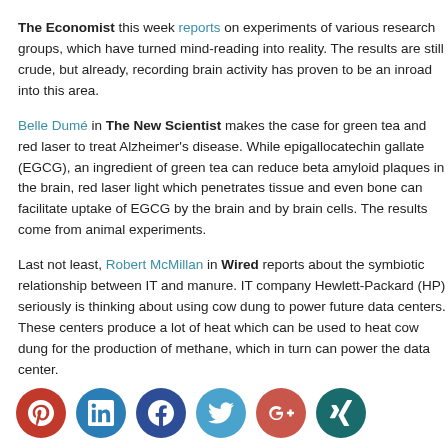The Economist this week reports on experiments of various research groups, which have turned mind-reading into reality. The results are still crude, but already, recording brain activity has proven to be an inroad into this area.
Belle Dumé in The New Scientist makes the case for green tea and red laser to treat Alzheimer's disease. While epigallocatechin gallate (EGCG), an ingredient of green tea can reduce beta amyloid plaques in the brain, red laser light which penetrates tissue and even bone can facilitate uptake of EGCG by the brain and by brain cells. The results come from animal experiments.
Last not least, Robert McMillan in Wired reports about the symbiotic relationship between IT and manure. IT company Hewlett-Packard (HP) seriously is thinking about using cow dung to power future data centers. These centers produce a lot of heat which can be used to heat cow dung for the production of methane, which in turn can power the data center.
[Figure (infographic): Social media sharing icons row: Pinterest (red), LinkedIn (blue), Facebook (dark blue), Twitter (light blue), Google+ (red), Xing (dark teal)]